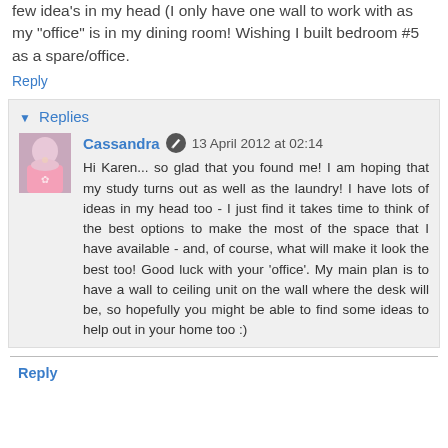few idea's in my head (I only have one wall to work with as my "office" is in my dining room! Wishing I built bedroom #5 as a spare/office.
Reply
Replies
Cassandra  13 April 2012 at 02:14
Hi Karen... so glad that you found me! I am hoping that my study turns out as well as the laundry! I have lots of ideas in my head too - I just find it takes time to think of the best options to make the most of the space that I have available - and, of course, what will make it look the best too! Good luck with your 'office'. My main plan is to have a wall to ceiling unit on the wall where the desk will be, so hopefully you might be able to find some ideas to help out in your home too :)
Reply